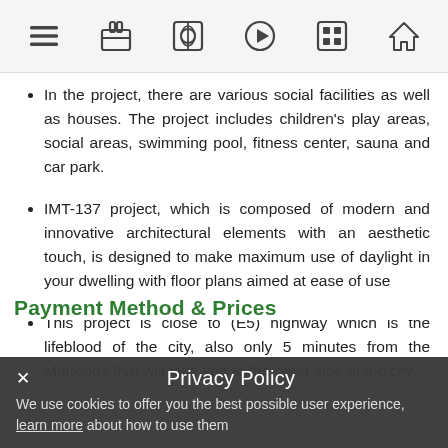Navigation bar with menu, gift, globe, play, grid, and home icons
In the project, there are various social facilities as well as houses. The project includes children's play areas, social areas, swimming pool, fitness center, sauna and car park.
IMT-137 project, which is composed of modern and innovative architectural elements with an aesthetic touch, is designed to make maximum use of daylight in your dwelling with floor plans aimed at ease of use
This project is close to (E5) highway which is the lifeblood of the city, also only 5 minutes from the Metrobus that will take you to the other side of the city.
Payment Method & Prices
Privacy Policy
× We use cookies to offer you the best possible user experience, learn more about how to use them